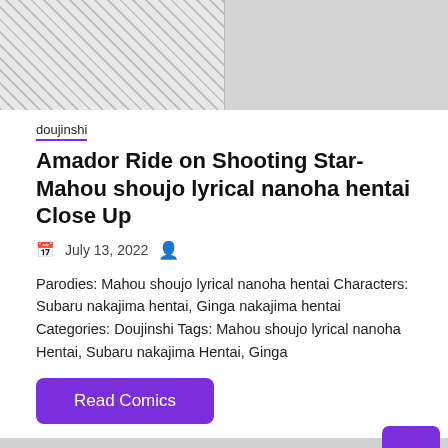[Figure (illustration): Two manga/anime style illustration panels side by side showing characters in black and white line art style]
doujinshi
Amador Ride on Shooting Star- Mahou shoujo lyrical nanoha hentai Close Up
July 13, 2022
Parodies: Mahou shoujo lyrical nanoha hentai Characters: Subaru nakajima hentai, Ginga nakajima hentai Categories: Doujinshi Tags: Mahou shoujo lyrical nanoha Hentai, Subaru nakajima Hentai, Ginga
Read Comics
[Figure (illustration): Two manga/anime style illustration panels at the bottom of the page]